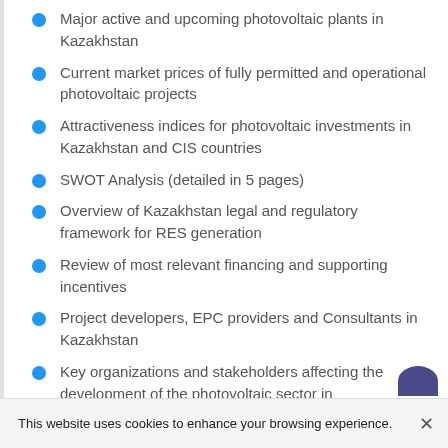Major active and upcoming photovoltaic plants in Kazakhstan
Current market prices of fully permitted and operational photovoltaic projects
Attractiveness indices for photovoltaic investments in Kazakhstan and CIS countries
SWOT Analysis (detailed in 5 pages)
Overview of Kazakhstan legal and regulatory framework for RES generation
Review of most relevant financing and supporting incentives
Project developers, EPC providers and Consultants in Kazakhstan
Key organizations and stakeholders affecting the development of the photovoltaic sector in
This website uses cookies to enhance your browsing experience.